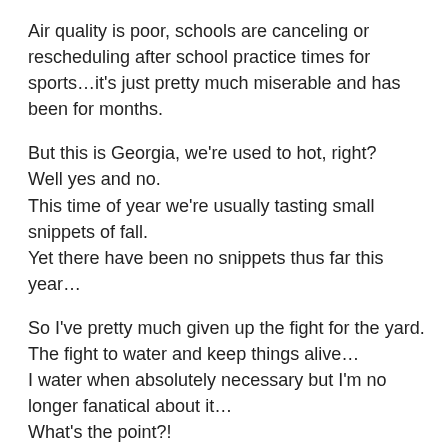Air quality is poor, schools are canceling or rescheduling after school practice times for sports…it's just pretty much miserable and has been for months.
But this is Georgia, we're used to hot, right?
Well yes and no.
This time of year we're usually tasting small snippets of fall.
Yet there have been no snippets thus far this year…
So I've pretty much given up the fight for the yard.
The fight to water and keep things alive…
I water when absolutely necessary but I'm no longer fanatical about it…
What's the point?!